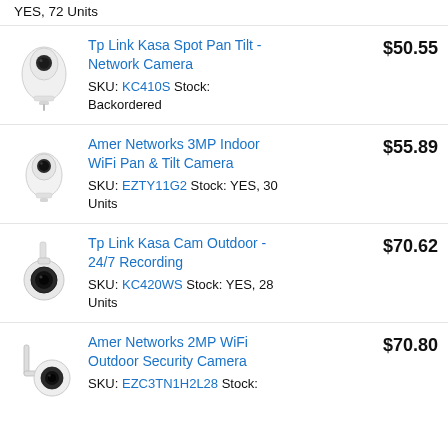YES, 72 Units
Tp Link Kasa Spot Pan Tilt - Network Camera SKU: KC410S Stock: Backordered $50.55
Amer Networks 3MP Indoor WiFi Pan & Tilt Camera SKU: EZTY11G2 Stock: YES, 30 Units $55.89
Tp Link Kasa Cam Outdoor - 24/7 Recording SKU: KC420WS Stock: YES, 28 Units $70.62
Amer Networks 2MP WiFi Outdoor Security Camera SKU: EZC3TN1H2L28 Stock: $70.80